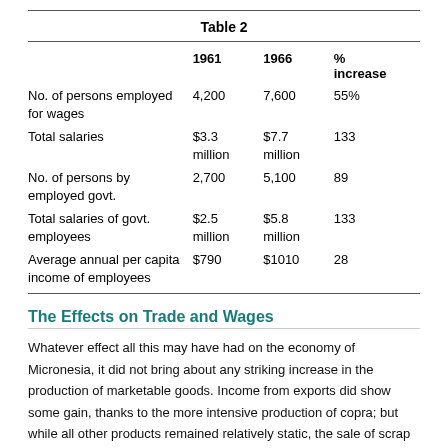|  | 1961 | 1966 | % increase |
| --- | --- | --- | --- |
| No. of persons employed for wages | 4,200 | 7,600 | 55% |
| Total salaries | $3.3 million | $7.7 million | 133 |
| No. of persons by employed govt. | 2,700 | 5,100 | 89 |
| Total salaries of govt. employees | $2.5 million | $5.8 million | 133 |
| Average annual per capita income of employees | $790 | $1010 | 28 |
The Effects on Trade and Wages
Whatever effect all this may have had on the economy of Micronesia, it did not bring about any striking increase in the production of marketable goods. Income from exports did show some gain, thanks to the more intensive production of copra; but while all other products remained relatively static, the sale of scrap